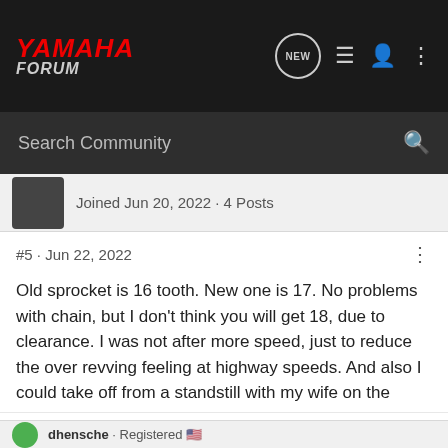YAMAHA FORUM
Search Community
Joined Jun 20, 2022 · 4 Posts
#5 · Jun 22, 2022
Old sprocket is 16 tooth. New one is 17. No problems with chain, but I don't think you will get 18, due to clearance. I was not after more speed, just to reduce the over revving feeling at highway speeds. And also I could take off from a standstill with my wife on the back, in second gear. I have bought a smaller rear sprocket, but haven't fitted it, as I haven't had to do a tyre change. New cog is 43, old cog I just counted at 44 teeth.
dhensche · Registered